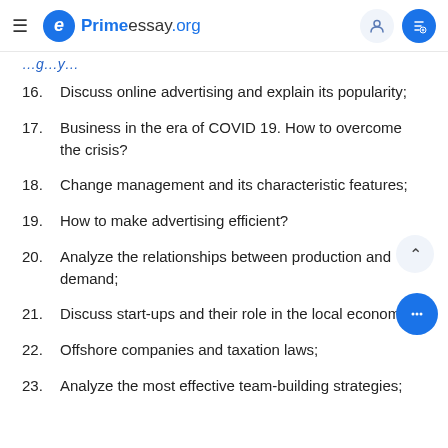Primeessay.org
Discuss online advertising and explain its popularity;
Business in the era of COVID 19. How to overcome the crisis?
Change management and its characteristic features;
How to make advertising efficient?
Analyze the relationships between production and demand;
Discuss start-ups and their role in the local economy;
Offshore companies and taxation laws;
Analyze the most effective team-building strategies;